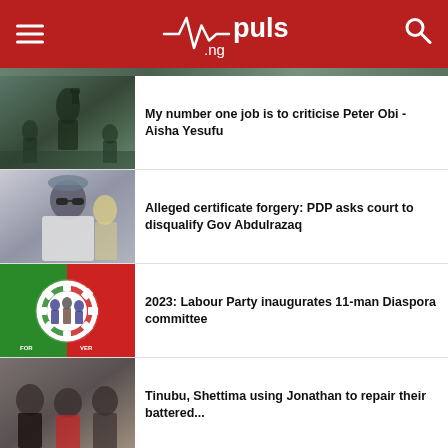pulse.ng
My number one job is to criticise Peter Obi - Aisha Yesufu
Alleged certificate forgery: PDP asks court to disqualify Gov Abdulrazaq
2023: Labour Party inaugurates 11-man Diaspora committee
Tinubu, Shettima using Jonathan to repair their battered...